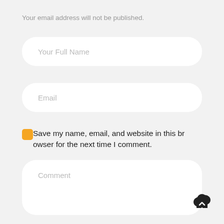Your email address will not be published.
Your Full Name
Email
Save my name, email, and website in this browser for the next time I comment.
Comment
[Figure (illustration): Cloud upload icon (dark cloud with upward arrow), positioned bottom-right corner]